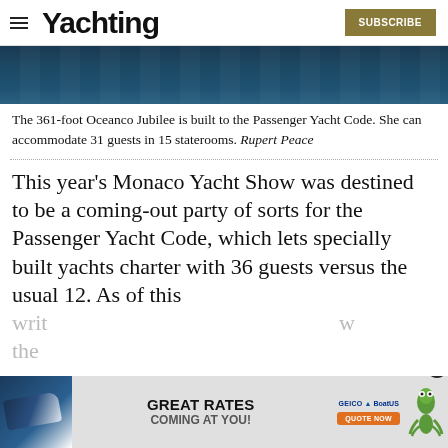Yachting | SUBSCRIBE
[Figure (photo): Dark ocean water surface, top portion of an article image]
The 361-foot Oceanco Jubilee is built to the Passenger Yacht Code. She can accommodate 31 guests in 15 staterooms. Rupert Peace
This year’s Monaco Yacht Show was destined to be a coming-out party of sorts for the Passenger Yacht Code, which lets specially built yachts charter with 36 guests versus the usual 12. As of this writing the
[Figure (screenshot): GEICO BoatUS advertisement banner: Great Rates Coming At You! Quote Now, with boat image and gecko mascot]